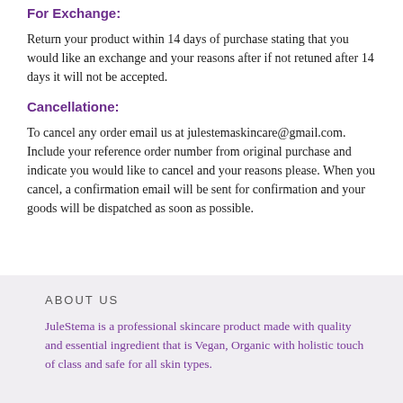For Exchange:
Return your product within 14 days of purchase stating that you would like an exchange and your reasons after if not retuned after 14 days it will not be accepted.
Cancellatione:
To cancel any order email us at julestemaskincare@gmail.com. Include your reference order number from original purchase and indicate you would like to cancel and your reasons please. When you cancel, a confirmation email will be sent for confirmation and your goods will be dispatched as soon as possible.
ABOUT US
JuleStema is a professional skincare product made with quality and essential ingredient that is Vegan, Organic with holistic touch of class and safe for all skin types.